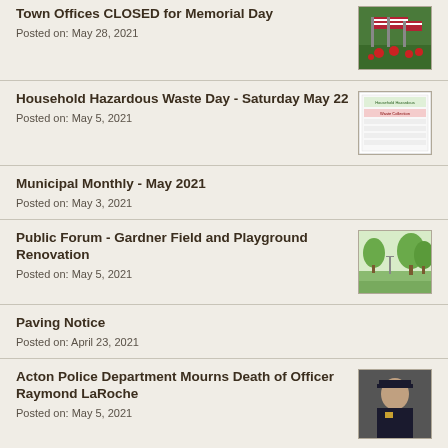Town Offices CLOSED for Memorial Day
Posted on: May 28, 2021
Household Hazardous Waste Day - Saturday May 22
Posted on: May 5, 2021
Municipal Monthly - May 2021
Posted on: May 3, 2021
Public Forum - Gardner Field and Playground Renovation
Posted on: May 5, 2021
Paving Notice
Posted on: April 23, 2021
Acton Police Department Mourns Death of Officer Raymond LaRoche
Posted on: May 5, 2021